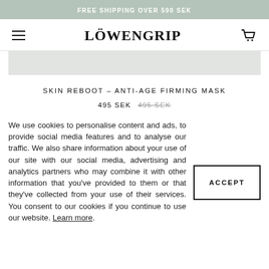FREE SHIPPING OVER 590 SEK
[Figure (logo): Löwengrip brand logo with hamburger menu icon on left and shopping cart icon on right]
[Figure (photo): Product image area shown as grey rectangle]
SKIN REBOOT – ANTI-AGE FIRMING MASK
495 SEK  495 SEK (strikethrough)
We use cookies to personalise content and ads, to provide social media features and to analyse our traffic. We also share information about your use of our site with our social media, advertising and analytics partners who may combine it with other information that you've provided to them or that they've collected from your use of their services. You consent to our cookies if you continue to use our website. Learn more.